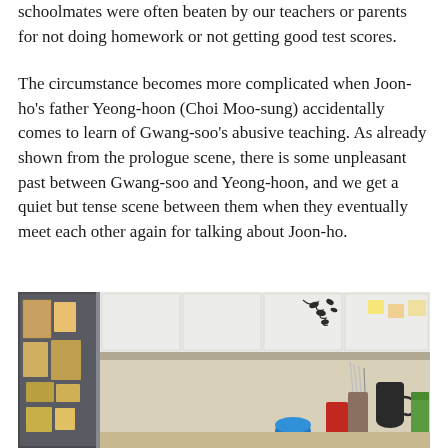schoolmates were often beaten by our teachers or parents for not doing homework or not getting good test scores.
The circumstance becomes more complicated when Joon-ho's father Yeong-hoon (Choi Moo-sung) accidentally comes to learn of Gwang-soo's abusive teaching. As already shown from the prologue scene, there is some unpleasant past between Gwang-soo and Yeong-hoon, and we get a quiet but tense scene between them when they eventually meet each other again for talking about Joon-ho.
[Figure (photo): A woman with glasses and dark hair pulled back, wearing a beige/tan cardigan over a dark top, standing in a kitchen with a refrigerator covered in papers/magnets on the left, white cabinets with decorative branch/leaf decals, and various kitchen items visible in the background.]